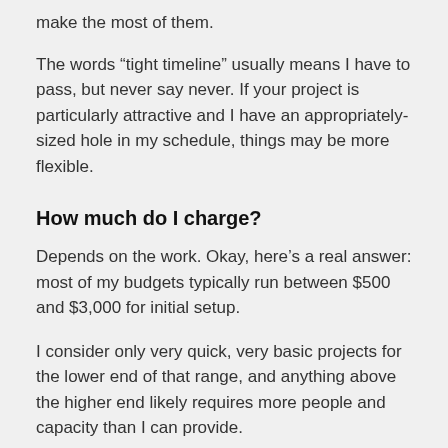make the most of them.
The words “tight timeline” usually means I have to pass, but never say never. If your project is particularly attractive and I have an appropriately-sized hole in my schedule, things may be more flexible.
How much do I charge?
Depends on the work. Okay, here’s a real answer: most of my budgets typically run between $500 and $3,000 for initial setup.
I consider only very quick, very basic projects for the lower end of that range, and anything above the higher end likely requires more people and capacity than I can provide.